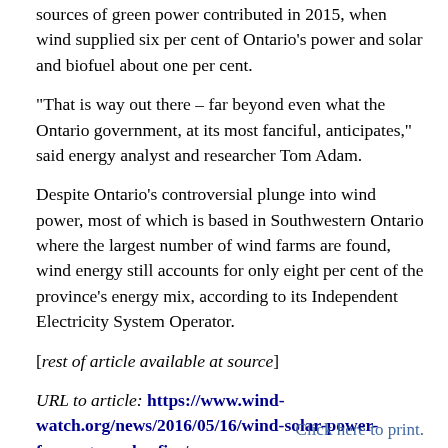sources of green power contributed in 2015, when wind supplied six per cent of Ontario's power and solar and biofuel about one per cent.
“That is way out there – far beyond even what the Ontario government, at its most fanciful, anticipates,” said energy analyst and researcher Tom Adam.
Despite Ontario’s controversial plunge into wind power, most of which is based in Southwestern Ontario where the largest number of wind farms are found, wind energy still accounts for only eight per cent of the province’s energy mix, according to its Independent Electricity System Operator.
[rest of article available at source]
URL to article:  https://www.wind-watch.org/news/2016/05/16/wind-solar-power-forecasts-under-fire/
Click here to print.